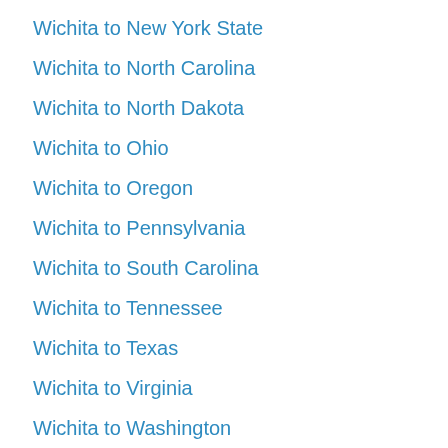Wichita to New York State
Wichita to North Carolina
Wichita to North Dakota
Wichita to Ohio
Wichita to Oregon
Wichita to Pennsylvania
Wichita to South Carolina
Wichita to Tennessee
Wichita to Texas
Wichita to Virginia
Wichita to Washington